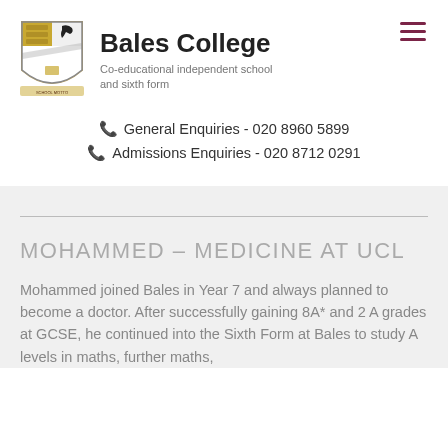[Figure (logo): Bales College shield/crest logo with heraldic design including birds and stripes]
Bales College
Co-educational independent school and sixth form
General Enquiries - 020 8960 5899
Admissions Enquiries - 020 8712 0291
MOHAMMED – MEDICINE AT UCL
Mohammed joined Bales in Year 7 and always planned to become a doctor. After successfully gaining 8A* and 2 A grades at GCSE, he continued into the Sixth Form at Bales to study A levels in maths, further maths,